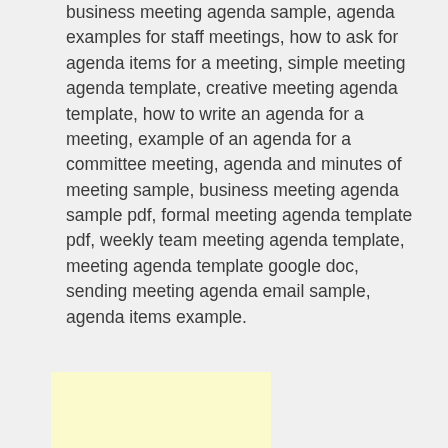business meeting agenda sample, agenda examples for staff meetings, how to ask for agenda items for a meeting, simple meeting agenda template, creative meeting agenda template, how to write an agenda for a meeting, example of an agenda for a committee meeting, agenda and minutes of meeting sample, business meeting agenda sample pdf, formal meeting agenda template pdf, weekly team meeting agenda template, meeting agenda template google doc, sending meeting agenda email sample, agenda items example.
[Figure (other): A plain light yellow rectangle, likely an advertisement placeholder.]